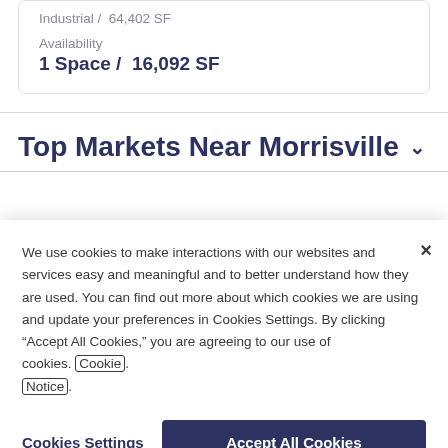Industrial / 64,402 SF
Availability
1 Space / 16,092 SF
Top Markets Near Morrisville
We use cookies to make interactions with our websites and services easy and meaningful and to better understand how they are used. You can find out more about which cookies we are using and update your preferences in Cookies Settings. By clicking "Accept All Cookies," you are agreeing to our use of cookies. Cookie Notice.
Cookies Settings
Accept All Cookies